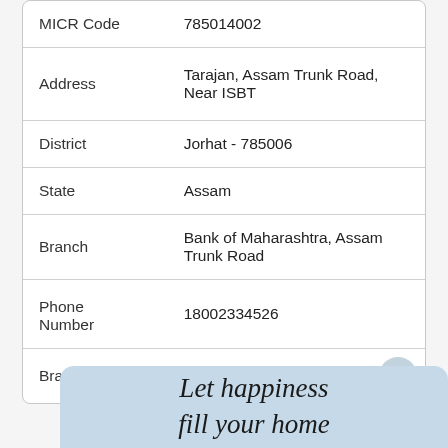| Field | Value |
| --- | --- |
| MICR Code | 785014002 |
| Address | Tarajan, Assam Trunk Road, Near ISBT |
| District | Jorhat - 785006 |
| State | Assam |
| Branch | Bank of Maharashtra, Assam Trunk Road |
| Phone Number | 18002334526 |
| Branch Code | 1566 |
Let happiness fill your home